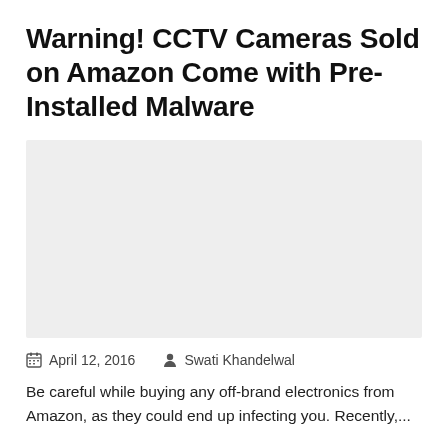Warning! CCTV Cameras Sold on Amazon Come with Pre-Installed Malware
[Figure (photo): Large light grey placeholder image block]
April 12, 2016   Swati Khandelwal
Be careful while buying any off-brand electronics from Amazon, as they could end up infecting you. Recently,...